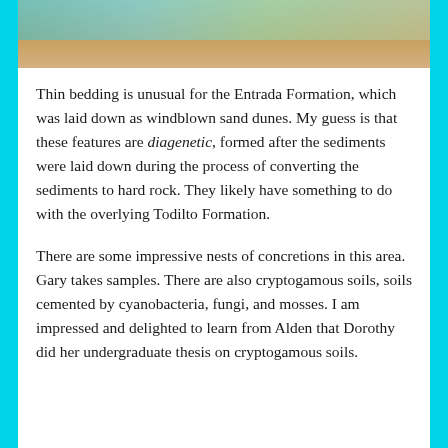[Figure (photo): Partial photo at top of page showing a person in outdoor field clothing, cropped at the bottom edge of the frame]
Thin bedding is unusual for the Entrada Formation, which was laid down as windblown sand dunes. My guess is that these features are diagenetic, formed after the sediments were laid down during the process of converting the sediments to hard rock. They likely have something to do with the overlying Todilto Formation.
There are some impressive nests of concretions in this area. Gary takes samples. There are also cryptogamous soils, soils cemented by cyanobacteria, fungi, and mosses. I am impressed and delighted to learn from Alden that Dorothy did her undergraduate thesis on cryptogamous soils.